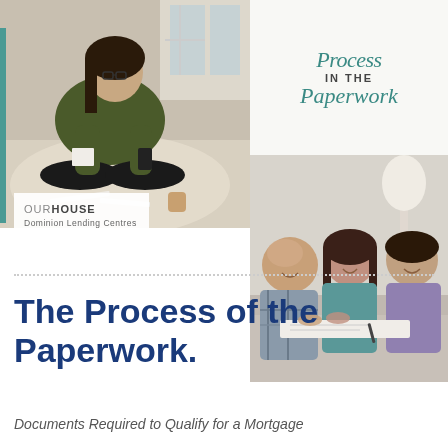[Figure (photo): Composite cover image with two photos: left photo shows a young woman with glasses sitting cross-legged on the floor reviewing documents while holding a phone; right bottom photo shows three people (man in plaid shirt, woman, man in purple shirt) sitting at a table smiling and reviewing documents together. Top right area has a script title text 'Process IN THE Paperwork' in teal/dark green. Bottom left has OUR HOUSE Dominion Lending Centres logo.]
The Process of the Paperwork.
Documents Required to Qualify for a Mortgage